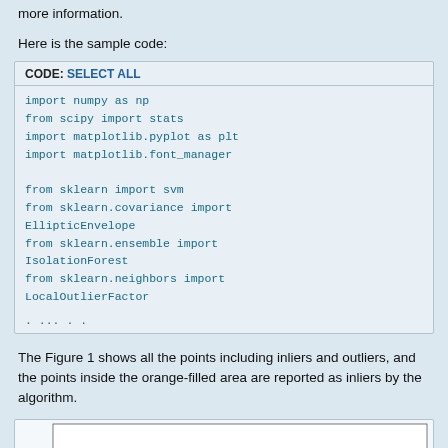more information.
Here is the sample code:
import numpy as np
from scipy import stats
import matplotlib.pyplot as plt
import matplotlib.font_manager

from sklearn import svm
from sklearn.covariance import EllipticEnvelope
from sklearn.ensemble import IsolationForest
from sklearn.neighbors import LocalOutlierFactor
The Figure 1 shows all the points including inliers and outliers, and the points inside the orange-filled area are reported as inliers by the algorithm.
[Figure (continuous-plot): Partial view of a scatter plot showing data points (black dots) on a coordinate plane, with y-axis labeled at 6.]